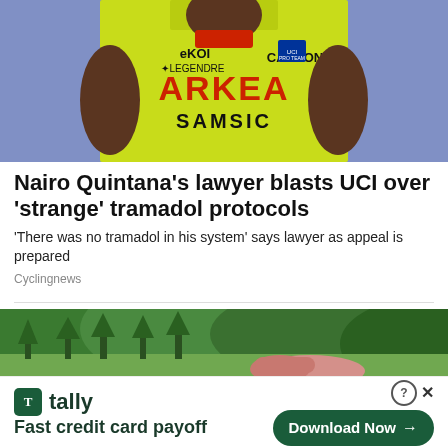[Figure (photo): Nairo Quintana in yellow-green Arkea Samsic cycling jersey with EKOI, Legendre, Canyon logos on purple/blue background]
Nairo Quintana's lawyer blasts UCI over 'strange' tramadol protocols
'There was no tramadol in his system' says lawyer as appeal is prepared
Cyclingnews
[Figure (photo): Aerial landscape view with trees, green hills, and a pink circular building structure]
[Figure (screenshot): Tally app advertisement banner: tally logo with 'Fast credit card payoff' and 'Download Now' button]